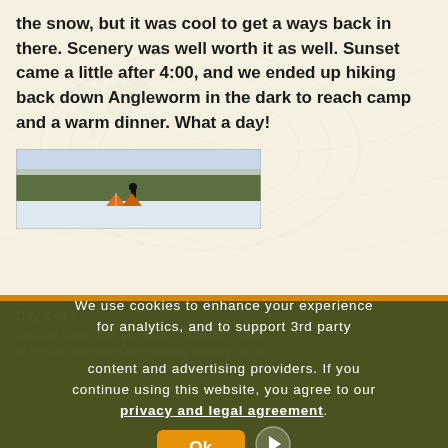the snow, but it was cool to get a ways back in there. Scenery was well worth it as well. Sunset came a little after 4:00, and we ended up hiking back down Angleworm in the dark to reach camp and a warm dinner. What a day!
[Figure (photo): Winter camping photo showing a person standing on a frozen lake with orange tents and snow-covered trees in the background]
We use cookies to enhance your experience for analytics, and to support 3rd party content and advertising providers. If you continue using this website, you agree to our privacy and legal agreement.
Day 2 of 2
Sunday, December 08, 2019~Angleworm Lake
to the car. We spent the morning loading up on